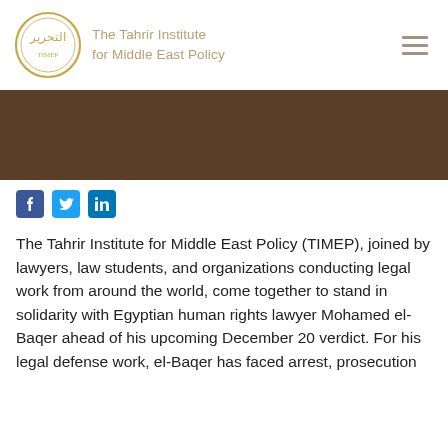[Figure (logo): The Tahrir Institute for Middle East Policy logo with circular Arabic calligraphy seal and text]
[Figure (other): Dark brown/chocolate color banner image strip]
[Figure (other): Social media icons: Facebook, Twitter, LinkedIn]
The Tahrir Institute for Middle East Policy (TIMEP), joined by lawyers, law students, and organizations conducting legal work from around the world, come together to stand in solidarity with Egyptian human rights lawyer Mohamed el-Baqer ahead of his upcoming December 20 verdict. For his legal defense work, el-Baqer has faced arrest, prosecution